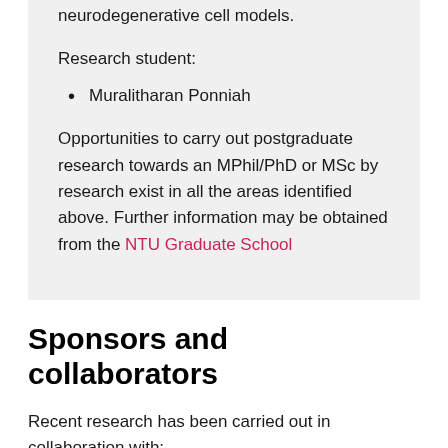neurodegenerative cell models.
Research student:
Muralitharan Ponniah
Opportunities to carry out postgraduate research towards an MPhil/PhD or MSc by research exist in all the areas identified above. Further information may be obtained from the NTU Graduate School
Sponsors and collaborators
Recent research has been carried out in collaboration with: